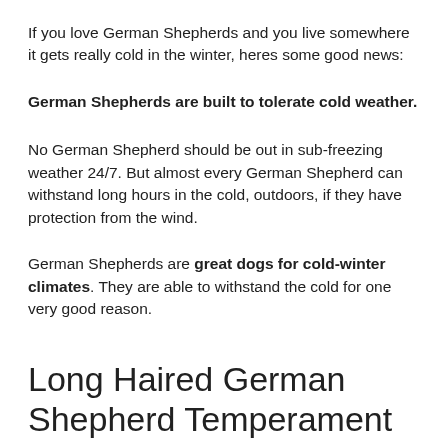If you love German Shepherds and you live somewhere it gets really cold in the winter, heres some good news:
German Shepherds are built to tolerate cold weather.
No German Shepherd should be out in sub-freezing weather 24/7. But almost every German Shepherd can withstand long hours in the cold, outdoors, if they have protection from the wind.
German Shepherds are great dogs for cold-winter climates. They are able to withstand the cold for one very good reason.
Long Haired German Shepherd Temperament